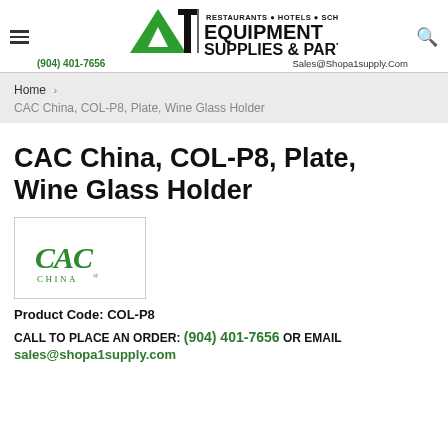A1 Equipment Supplies & Parts | Restaurants • Hotels • Schools | (904) 401-7656 | Sales@Shopa1supply.Com
Home > CAC China, COL-P8, Plate, Wine Glass Holder
CAC China, COL-P8, Plate, Wine Glass Holder
[Figure (logo): CAC China logo in gothic/old-english green lettering]
Product Code: COL-P8
CALL TO PLACE AN ORDER: (904) 401-7656 OR EMAIL
sales@shopa1supply.com